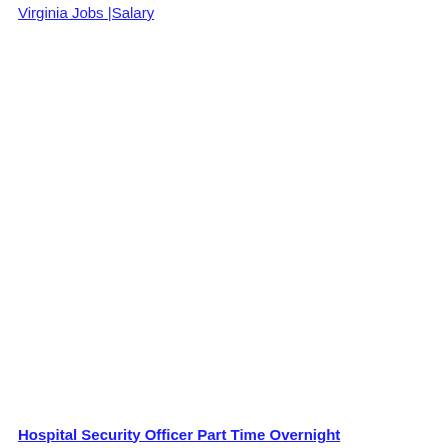Virginia Jobs |Salary
Hospital Security Officer Part Time Overnight